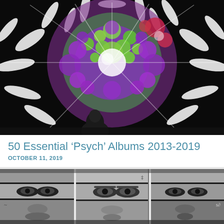[Figure (photo): Psychedelic colorful circular visual projection with purple, green, red and white swirling patterns on black background, with a silhouette of a person at the bottom. Projected on a large screen or wall.]
50 Essential ‘Psych’ Albums 2013-2019
OCTOBER 11, 2019
[Figure (photo): Black and white collage of close-up photographs of multiple faces showing eyes, arranged in a grid-like pattern. High contrast monochrome photography.]